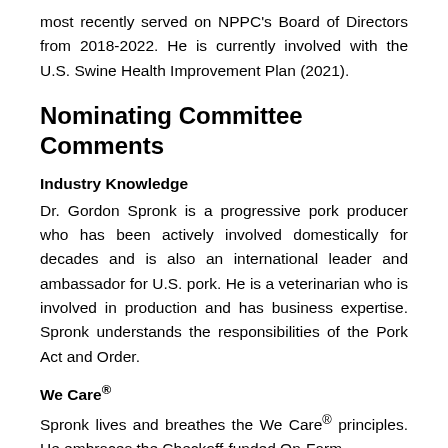most recently served on NPPC's Board of Directors from 2018-2022. He is currently involved with the U.S. Swine Health Improvement Plan (2021).
Nominating Committee Comments
Industry Knowledge
Dr. Gordon Spronk is a progressive pork producer who has been actively involved domestically for decades and is also an international leader and ambassador for U.S. pork. He is a veterinarian who is involved in production and has business expertise. Spronk understands the responsibilities of the Pork Act and Order.
We Care®
Spronk lives and breathes the We Care® principles. He embraces the Checkoff-funded On-Farm